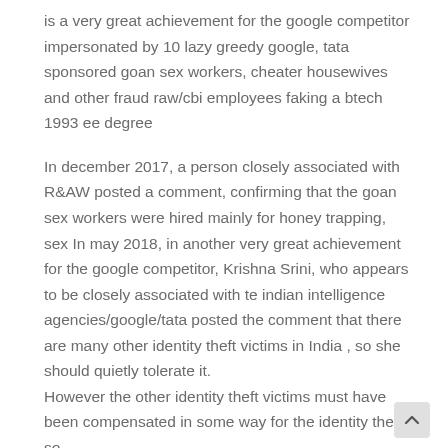is a very great achievement for the google competitor impersonated by 10 lazy greedy google, tata sponsored goan sex workers, cheater housewives and other fraud raw/cbi employees faking a btech 1993 ee degree
In december 2017, a person closely associated with R&AW posted a comment, confirming that the goan sex workers were hired mainly for honey trapping, sex In may 2018, in another very great achievement for the google competitor, Krishna Srini, who appears to be closely associated with te indian intelligence agencies/google/tata posted the comment that there are many other identity theft victims in India , so she should quietly tolerate it.
However the other identity theft victims must have been compensated in some way for the identity theft so